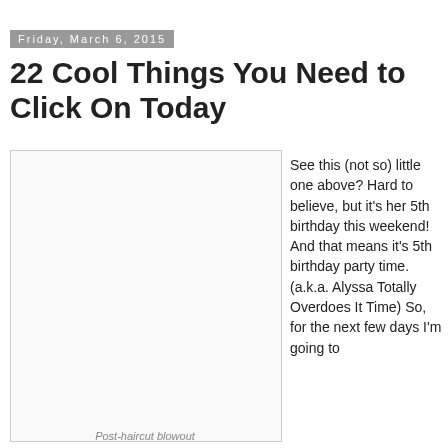Friday, March 6, 2015
22 Cool Things You Need to Click On Today
[Figure (photo): Post-haircut blowout photo placeholder]
Post-haircut blowout
See this (not so) little one above? Hard to believe, but it's her 5th birthday this weekend! And that means it's 5th birthday party time. (a.k.a. Alyssa Totally Overdoes It Time) So, for the next few days I'm going to